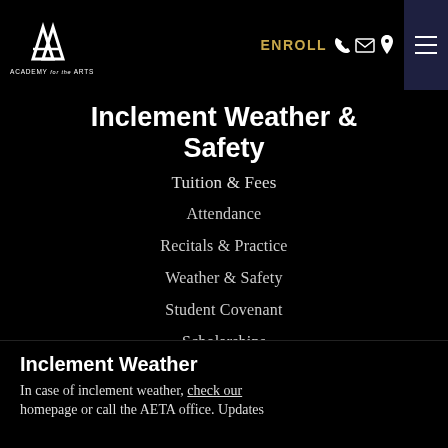[Figure (screenshot): Academy for the Arts logo with stylized 'A' marks icon and text 'ACADEMY for the ARTS' below]
ENROLL [phone] [email] [location] [menu]
Inclement Weather & Safety
Tuition & Fees
Attendance
Recitals & Practice
Weather & Safety
Student Covenant
Scholarships
Inclement Weather
In case of inclement weather, check our homepage or call the AETA office. Updates